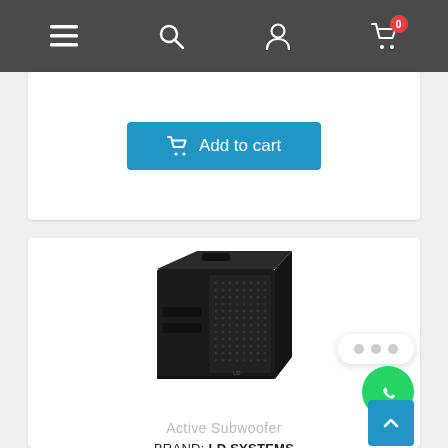Navigation bar with menu, search, user, and cart icons
Add to cart
[Figure (photo): Black active subwoofer speaker cabinet (LD Systems Stinger Sub) shown at an angle, with mesh grille on the front and side port openings visible]
Active Subwoofer
BRAND: LD SYSTEMS
LD SYSTEMS STINGER SUB 18 A G2